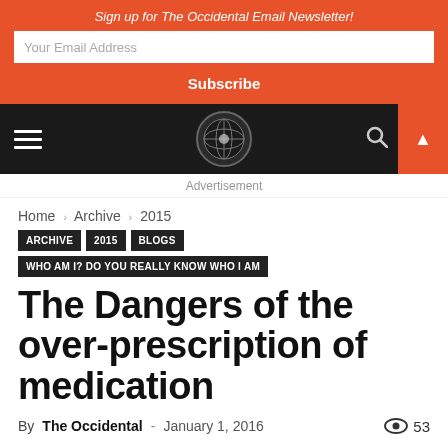Sign up for The Occidental Email Newsletter!
Your Email Address
Subscribe
[Figure (logo): The Occidental globe logo in circular nav bar]
Advertisement
Home › Archive › 2015
ARCHIVE
2015
BLOGS
WHO AM I? DO YOU REALLY KNOW WHO I AM
The Dangers of the over-prescription of medication
By The Occidental - January 1, 2016   53